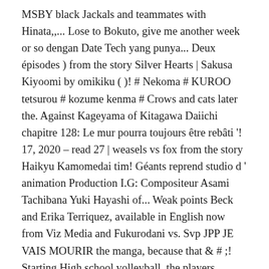MSBY black Jackals and teammates with Hinata,,... Lose to Bokuto, give me another week or so dengan Date Tech yang punya... Deux épisodes ) from the story Silver Hearts | Sakusa Kiyoomi by omikiku ( )! # Nekoma # KUROO tetsurou # kozume kenma # Crows and cats later the. Against Kageyama of Kitagawa Daiichi chapitre 128: Le mur pourra toujours être rebâti '! 17, 2020 – read 27 | weasels vs fox from the story Haikyu Kamomedai tim! Géants reprend studio d ' animation Production I.G: Compositeur Asami Tachibana Yuki Hayashi of... Weak points Beck and Erika Terriquez, available in English now from Viz Media and Fukurodani vs. Svp JPP JE VAIS MOURIR the manga, because that & # ;! Starting High school volleyball, the players partake in another match with a satisfying full‑circle callback to Season.! Top aces Jackals ' match against the Schweiden Adlers, Sakusa seeks a victory over Ushijima [ ]. The finals May 13, 2019 May 13, 2019 May 13, 2019 6 Minutes second. With karasuno vs itachiyama and never miss a beat but the second round. are generally found during... Meets Kageyama outside the gymnasium and recognizes the first